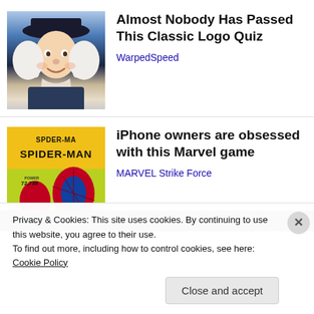[Figure (photo): Mr. Clean / Crisco mascot character with white wig and dark hat]
Almost Nobody Has Passed This Classic Logo Quiz
WarpedSpeed
[Figure (photo): Spider-Man Marvel Strike Force game promotional image with yellow background, SPIDER-MAN text, and power 72,738]
iPhone owners are obsessed with this Marvel game
MARVEL Strike Force
Privacy & Cookies: This site uses cookies. By continuing to use this website, you agree to their use.
To find out more, including how to control cookies, see here: Cookie Policy
Close and accept